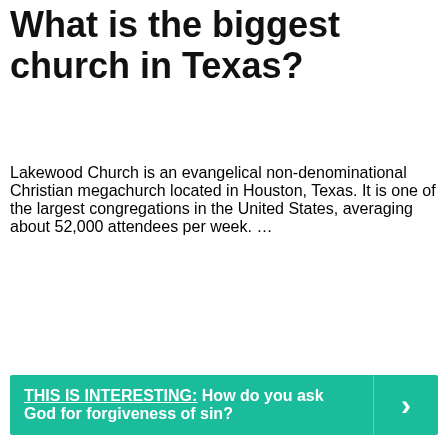What is the biggest church in Texas?
Lakewood Church is an evangelical non-denominational Christian megachurch located in Houston, Texas. It is one of the largest congregations in the United States, averaging about 52,000 attendees per week. …
THIS IS INTERESTING:  How do you ask God for forgiveness of sin?
| Lakewood Church |
| --- |
| Weekly attendance | 52,000 |